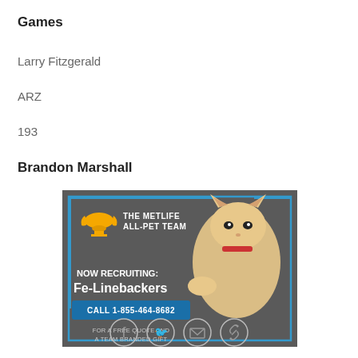Games
Larry Fitzgerald
ARZ
193
Brandon Marshall
[Figure (illustration): MetLife All-Pet Team advertisement showing a cat leaping. Text reads: THE METLIFE ALL-PET TEAM, NOW RECRUITING: Fe-Linebackers, CALL 1-855-464-8682, FOR A FREE QUOTE AND A TEAM BRANDED GIFT.]
[Figure (infographic): Social media sharing icons: Facebook, Twitter, Email, Link]